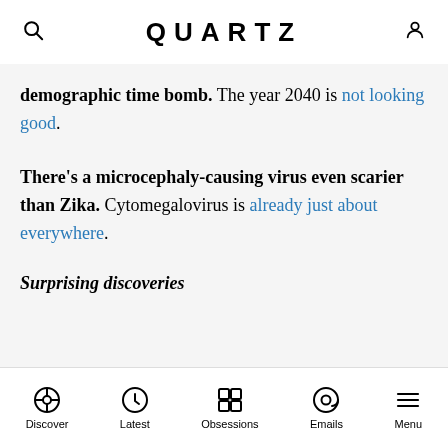QUARTZ
demographic time bomb. The year 2040 is not looking good.
There’s a microcephaly-causing virus even scarier than Zika. Cytomegalovirus is already just about everywhere.
Surprising discoveries
Discover  Latest  Obsessions  Emails  Menu